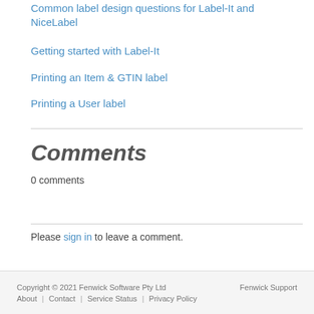Common label design questions for Label-It and NiceLabel
Getting started with Label-It
Printing an Item & GTIN label
Printing a User label
Comments
0 comments
Please sign in to leave a comment.
Copyright © 2021 Fenwick Software Pty Ltd | Fenwick Support | About | Contact | Service Status | Privacy Policy